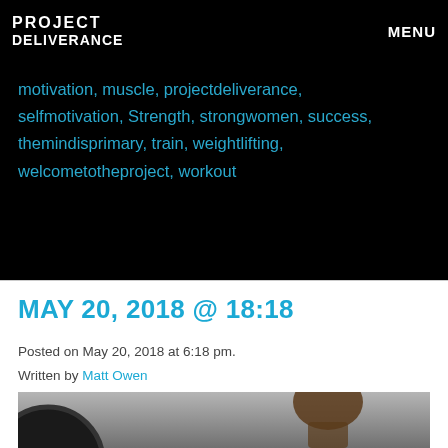PROJECT DELIVERANCE   MENU
motivation, muscle, projectdeliverance, selfmotivation, Strength, strongwomen, success, themindisprimary, train, weightlifting, welcometotheproject, workout
MAY 20, 2018 @ 18:18
Posted on May 20, 2018 at 6:18 pm.
Written by Matt Owen
[Figure (photo): Gym photo showing a weight plate on the left and a woman with hair in a bun on the right, black and white / grayscale tone]